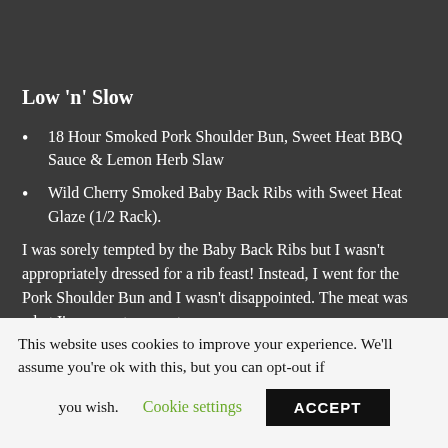[Figure (photo): Partial view of a food item, likely a sandwich or bun on a plate, cropped at top of page]
Low 'n' Slow
18 Hour Smoked Pork Shoulder Bun, Sweet Heat BBQ Sauce & Lemon Herb Slaw
Wild Cherry Smoked Baby Back Ribs with Sweet Heat Glaze (1/2 Rack).
I was sorely tempted by the Baby Back Ribs but I wasn't appropriately dressed for a rib feast!  Instead, I went for the Pork Shoulder Bun and I wasn't disappointed.  The meat was what I've come to expect
This website uses cookies to improve your experience. We'll assume you're ok with this, but you can opt-out if you wish.
Cookie settings
ACCEPT